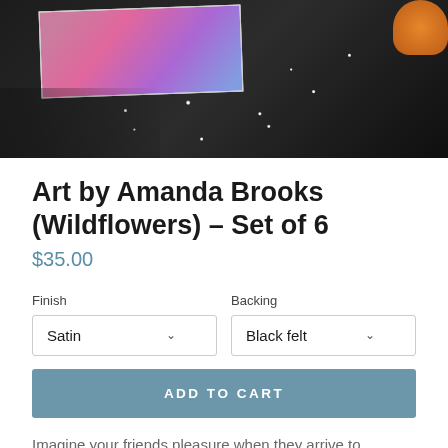[Figure (photo): Product photo showing black and white speckled feathers, an open photo book with purple/pink flowers, and orange yarn on a light surface]
Art by Amanda Brooks (Wildflowers) - Set of 6
$35.00
Finish
Satin
Backing
Black felt
ADD TO CART
Imagine your friends pleasure when they arrive to